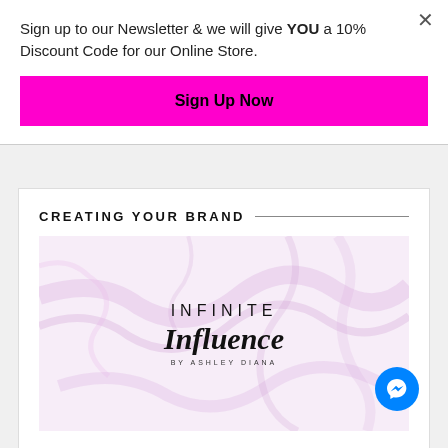Sign up to our Newsletter & we will give YOU a 10% Discount Code for our Online Store.
Sign Up Now
CREATING YOUR BRAND
[Figure (logo): Infinite Influence by Ashley Diana logo on pink marble background]
Everything you need to create a lifestyle and